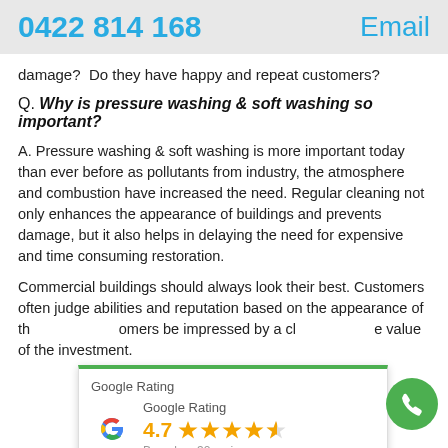0422 814 168   Email
damage?  Do they have happy and repeat customers?
Q. Why is pressure washing & soft washing so important?
A. Pressure washing & soft washing is more important today than ever before as pollutants from industry, the atmosphere and combustion have increased the need. Regular cleaning not only enhances the appearance of buildings and prevents damage, but it also helps in delaying the need for expensive and time consuming restoration.
Commercial buildings should always look their best. Customers often judge abilities and reputation based on the appearance of the ... omers be impressed by a cl... e value of the investment.
[Figure (other): Google Rating widget showing 4.7 stars based on 32 reviews]
Q. [partial] r my paint?
A. Soft washing is the first and best method to ensure that ...